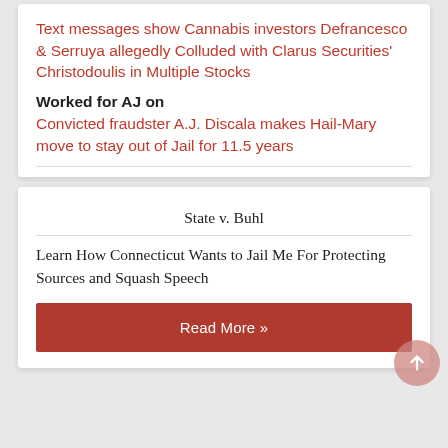Text messages show Cannabis investors Defrancesco & Serruya allegedly Colluded with Clarus Securities' Christodoulis in Multiple Stocks
Worked for AJ on
Convicted fraudster A.J. Discala makes Hail-Mary move to stay out of Jail for 11.5 years
State v. Buhl
Learn How Connecticut Wants to Jail Me For Protecting Sources and Squash Speech
Read More »